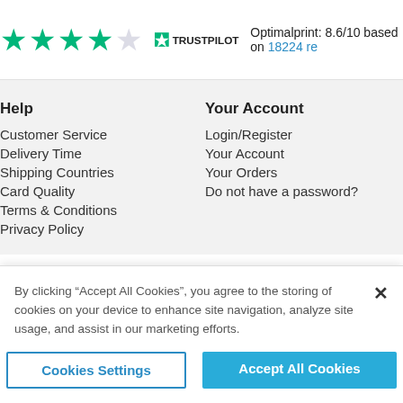[Figure (infographic): Trustpilot rating bar: 4 green stars and 1 grey star, Trustpilot logo, text 'Optimalprint: 8.6/10 based on 18224 re...' with link on 18224]
Help
Customer Service
Delivery Time
Shipping Countries
Card Quality
Terms & Conditions
Privacy Policy
Your Account
Login/Register
Your Account
Your Orders
Do not have a password?
By clicking “Accept All Cookies”, you agree to the storing of cookies on your device to enhance site navigation, analyze site usage, and assist in our marketing efforts.
Cookies Settings
Accept All Cookies